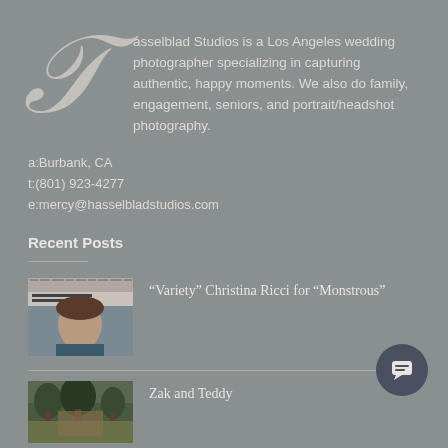Hasselblad Studios is a Los Angeles wedding photographer specializing in capturing authentic, happy moments. We also do family, engagement, seniors, and portrait/headshot photography.
a:Burbank, CA
t:(801) 923-4277
e:mercy@hasselbladstudios.com
Recent Posts
“Variety” Christina Ricci for “Monstrous”
Zak and Teddy